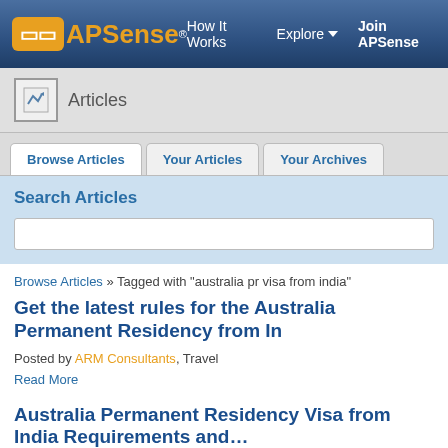APSense — How It Works   Explore   Join APSense
Articles
Browse Articles | Your Articles | Your Archives
Search Articles
Browse Articles » Tagged with "australia pr visa from india"
Get the latest rules for the Australia Permanent Residency from I…
Posted by ARM Consultants, Travel
Read More
Australia Permanent Residency Visa from India Requirements and…
Posted by Bhawana Ys, Travel
Read More